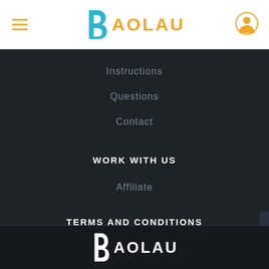BAOLAU
Instructions
Questions
Contact
WORK WITH US
Affiliate
TERMS AND CONDITIONS
Privacy Policy
Terms of Use
[Figure (logo): BAOLAU logo at bottom of page, white version on dark background]